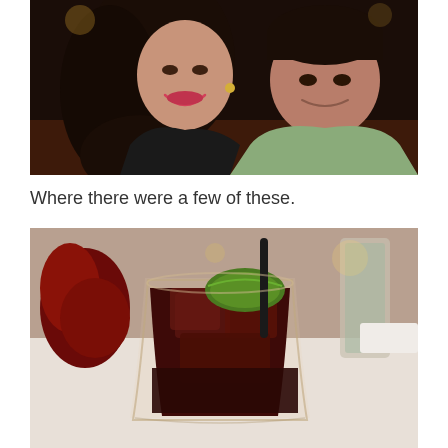[Figure (photo): A smiling woman with dark hair wearing a black top and a man in a light green shirt, both posing close together at what appears to be a social event or restaurant.]
Where there were a few of these.
[Figure (photo): A close-up of a dark cocktail drink in a glass with ice cubes, a lime wedge, and a black straw. A strawberry garnish and other drinks are visible in the background on a white tablecloth.]